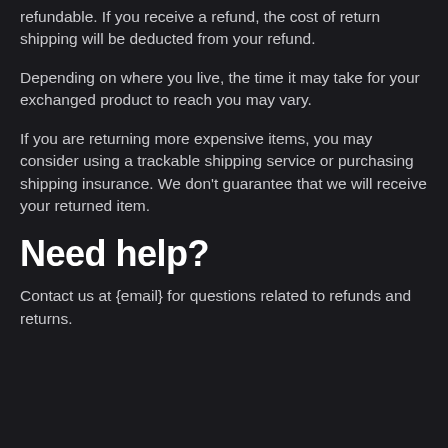refundable. If you receive a refund, the cost of return shipping will be deducted from your refund.
Depending on where you live, the time it may take for your exchanged product to reach you may vary.
If you are returning more expensive items, you may consider using a trackable shipping service or purchasing shipping insurance. We don't guarantee that we will receive your returned item.
Need help?
Contact us at {email} for questions related to refunds and returns.